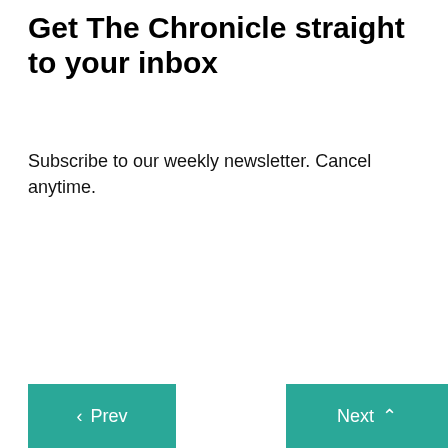Get The Chronicle straight to your inbox
Subscribe to our weekly newsletter. Cancel anytime.
[Figure (screenshot): A light grey form box containing a checkbox and a text input field displaying the name 'Michael A. Bynum']
< Prev
Next ^